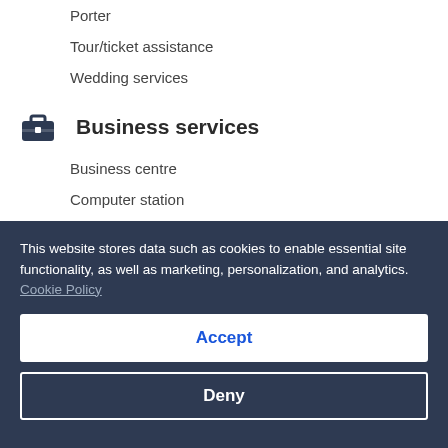Porter
Tour/ticket assistance
Wedding services
Business services
Business centre
Computer station
Conference space (16856 square feet)
Meeting rooms - 11
Outdoors
This website stores data such as cookies to enable essential site functionality, as well as marketing, personalization, and analytics. Cookie Policy
Accept
Deny